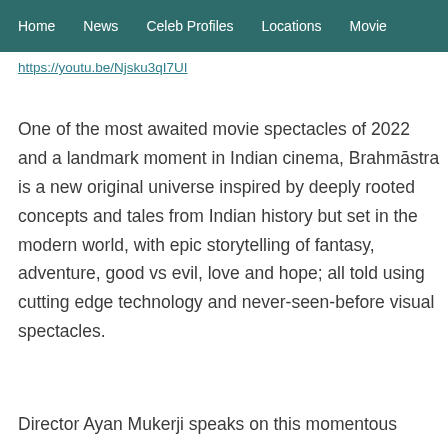Home  News  Celeb Profiles  Locations  Movie
https://youtu.be/Njsku3qI7UI
One of the most awaited movie spectacles of 2022 and a landmark moment in Indian cinema, Brahmāstra is a new original universe inspired by deeply rooted concepts and tales from Indian history but set in the modern world, with epic storytelling of fantasy, adventure, good vs evil, love and hope; all told using cutting edge technology and never-seen-before visual spectacles.
Director Ayan Mukerji speaks on this momentous